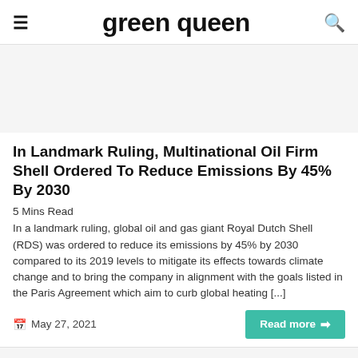green queen
[Figure (other): Advertisement placeholder banner, light gray background]
In Landmark Ruling, Multinational Oil Firm Shell Ordered To Reduce Emissions By 45% By 2030
5 Mins Read
In a landmark ruling, global oil and gas giant Royal Dutch Shell (RDS) was ordered to reduce its emissions by 45% by 2030 compared to its 2019 levels to mitigate its effects towards climate change and to bring the company in alignment with the goals listed in the Paris Agreement which aim to curb global heating [...]
May 27, 2021
[Figure (other): Partial next article placeholder, light gray background]